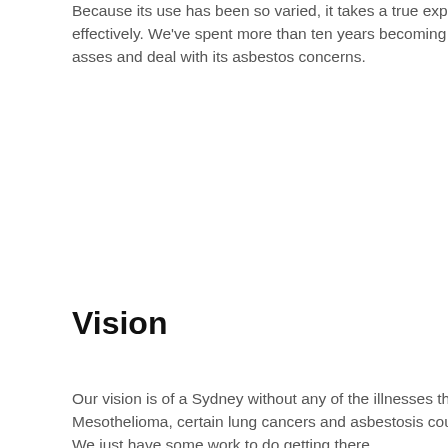Because its use has been so varied, it takes a true expert to detect and remove it safely and effectively. We've spent more than ten years becoming the type of experts Sydney needs to asses and deal with its asbestos concerns.
Vision
Our vision is of a Sydney without any of the illnesses that inhaling asbestos dust can cause. Mesothelioma, certain lung cancers and asbestosis could be, and should be, things of the past. We just have some work to do getting there.
The irony is, of course, that to remove the material a few people do have to risk exposure in the process. That is why we never lose our focus on safety, including strict compliance with all government and industry materials handling standards, and